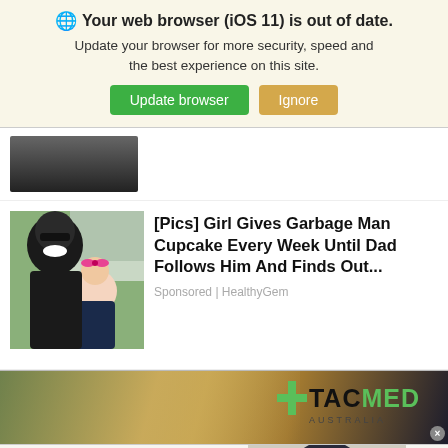Your web browser (iOS 11) is out of date. Update your browser for more security, speed and the best experience on this site. Update browser | Ignore
[Figure (screenshot): Partial thumbnail of a dark news article image at top]
[Pics] Girl Gives Garbage Man Cupcake Every Week Until Dad Follows Him And Finds Out...
Sponsored | HealthyGem
[Figure (screenshot): TacMed Australia banner advertisement with gold/olive gradient background and green plus logo]
[Figure (screenshot): Bloomingdales advertisement - View Today's Top Deals! Shop Now >]